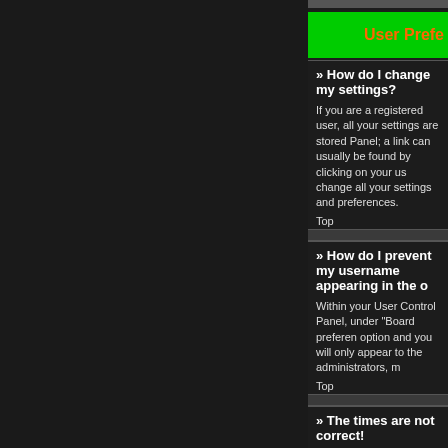User Prefe
» How do I change my settings?
If you are a registered user, all your settings are stored Panel; a link can usually be found by clicking on your us change all your settings and preferences.
Top
» How do I prevent my username appearing in the o
Within your User Control Panel, under "Board preferen option and you will only appear to the administrators, m
Top
» The times are not correct!
It is possible the time displayed is from a timezone diffe Control Panel and change your timezone to match your Please note that changing the timezone, like most setti registered, this is a good time to do so.
Top
» I changed the timezone and the time is still wrong
If you are sure you have set the timezone correctly and clock is incorrect. Please notify an administrator to corr